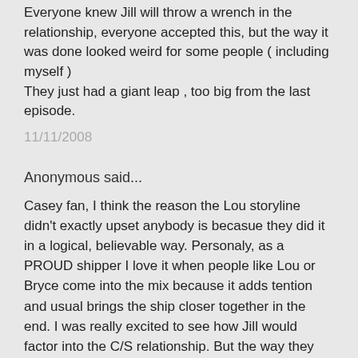Everyone knew Jill will throw a wrench in the relationship, everyone accepted this, but the way it was done looked weird for some people ( including myself )
They just had a giant leap , too big from the last episode.
11/11/2008
Anonymous said...
Casey fan, I think the reason the Lou storyline didn't exactly upset anybody is becasue they did it in a logical, believable way. Personaly, as a PROUD shipper I love it when people like Lou or Bryce come into the mix because it adds tention and usual brings the ship closer together in the end. I was really excited to see how Jill would factor into the C/S relationship. But the way they handled it was completely uncharacteristic on Chuck's part. I'd say 50% of fans think the same